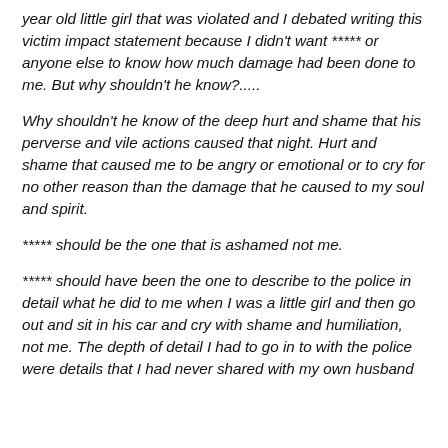year old little girl that was violated and I debated writing this victim impact statement because I didn't want ***** or anyone else to know how much damage had been done to me. But why shouldn't he know?.....
Why shouldn't he know of the deep hurt and shame that his perverse and vile actions caused that night. Hurt and shame that caused me to be angry or emotional or to cry for no other reason than the damage that he caused to my soul and spirit.
***** should be the one that is ashamed not me.
***** should have been the one to describe to the police in detail what he did to me when I was a little girl and then go out and sit in his car and cry with shame and humiliation, not me. The depth of detail I had to go in to with the police were details that I had never shared with my own husband